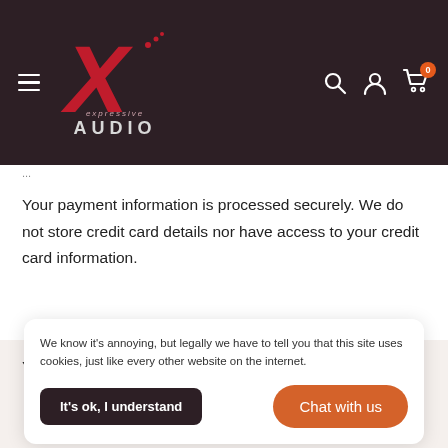[Figure (logo): Expressive Audio logo with red X and text 'expressive AUDIO' on dark brown background]
Your payment information is processed securely. We do not store credit card details nor have access to your credit card information.
You may also like
We know it's annoying, but legally we have to tell you that this site uses cookies, just like every other website on the internet.
It's ok, I understand
Chat with us